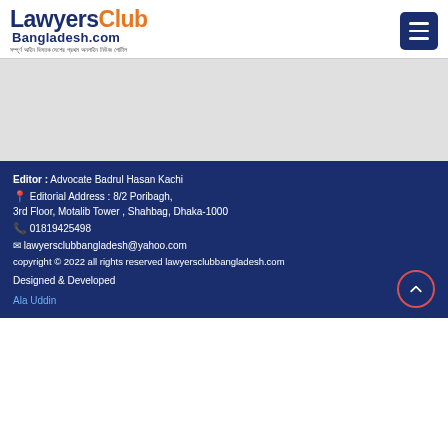[Figure (logo): LawyersClub Bangladesh.com logo with Bangla tagline]
[Figure (other): Hamburger menu button (three horizontal lines on dark blue background)]
[Figure (other): Gray content area placeholder]
Editor : Advocate Badrul Hasan Kachi
Editorial Address : 8/2 Poribagh,
3rd Floor, Motalib Tower , Shahbag, Dhaka-1000
01819425498
lawyersclubbangladesh@yahoo.com
copyright © 2022 all rights reserved lawyersclubbangladesh.com
Designed & Developed
Ala Uddin